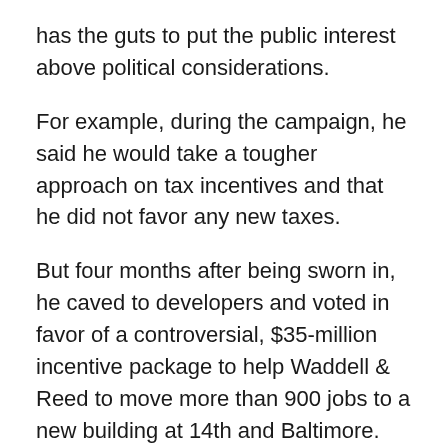has the guts to put the public interest above political considerations.
For example, during the campaign, he said he would take a tougher approach on tax incentives and that he did not favor any new taxes.
But four months after being sworn in, he caved to developers and voted in favor of a controversial, $35-million incentive package to help Waddell & Reed to move more than 900 jobs to a new building at 14th and Baltimore.
Then, two weeks ago, he came out in favor the the Fire Department sales-tax increase, one of the most brazen tax ambushes any City Council has pulled off in recent history. (The ordinance authorizing the election was proposed one